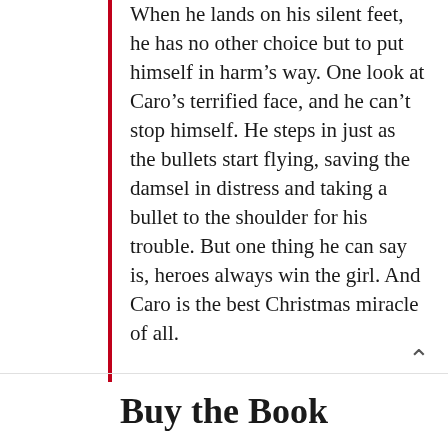When he lands on his silent feet, he has no other choice but to put himself in harm's way. One look at Caro's terrified face, and he can't stop himself. He steps in just as the bullets start flying, saving the damsel in distress and taking a bullet to the shoulder for his trouble. But one thing he can say is, heroes always win the girl. And Caro is the best Christmas miracle of all.
Buy the Book